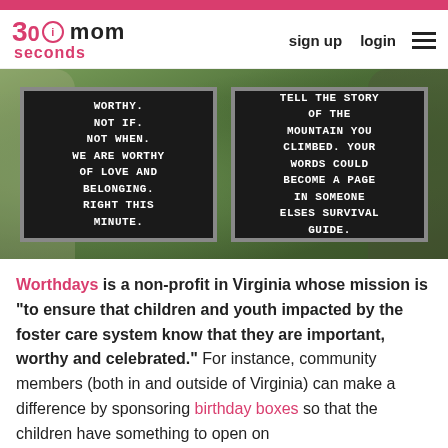30seconds mom | sign up | login
[Figure (photo): Two people holding black letter boards. Left board reads: WORTHY. NOT IF. NOT WHEN. WE ARE WORTHY OF LOVE AND BELONGING. RIGHT THIS MINUTE. Right board reads: TELL THE STORY OF THE MOUNTAIN YOU CLIMBED. YOUR WORDS COULD BECOME A PAGE IN SOMEONE ELSES SURVIVAL GUIDE.]
Worthdays is a non-profit in Virginia whose mission is “to ensure that children and youth impacted by the foster care system know that they are important, worthy and celebrated.” For instance, community members (both in and outside of Virginia) can make a difference by sponsoring birthday boxes so that the children have something to open on